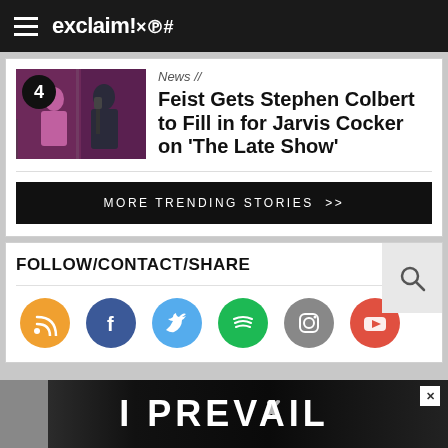exclaim!×℗#
News //
Feist Gets Stephen Colbert to Fill in for Jarvis Cocker on 'The Late Show'
MORE TRENDING STORIES >>
FOLLOW/CONTACT/SHARE
[Figure (infographic): Social media icons: RSS (orange), Facebook (blue), Twitter (light blue), Spotify (green), Instagram (gray), YouTube (red/orange)]
[Figure (photo): Ad banner reading I PREVAIL with dark background]